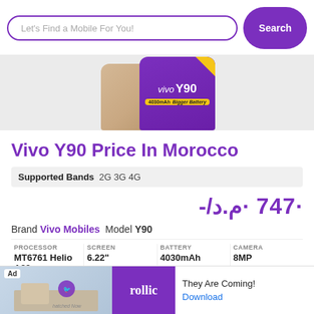Let's Find a Mobile For You! Search
[Figure (photo): Vivo Y90 smartphone product image showing phone with purple screen displaying 'vivo Y90' logo and '4030mAh Bigger Battery' text, with gold/beige back panel]
Vivo Y90 Price In Morocco
Supported Bands 2G 3G 4G
·747 ·م.د/-
Brand Vivo Mobiles Model Y90
| PROCESSOR | SCREEN | BATTERY | CAMERA |
| --- | --- | --- | --- |
| MT6761 Helio A22 | 6.22" | 4030mAh | 8MP |
[Figure (screenshot): Ad banner for Rollic game app with text 'They Are Coming!' and Download link]